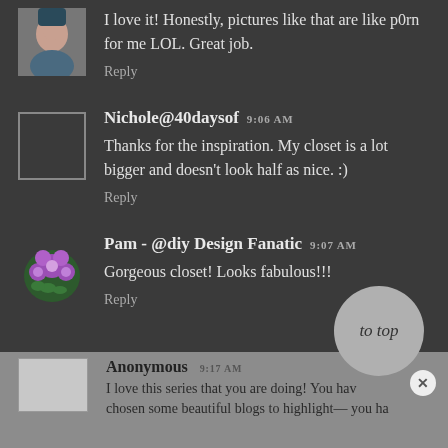I love it! Honestly, pictures like that are like p0rn for me LOL. Great job.
Reply
Nichole@40daysof 9:06 AM
Thanks for the inspiration. My closet is a lot bigger and doesn't look half as nice. :)
Reply
Pam - @diy Design Fanatic 9:07 AM
Gorgeous closet! Looks fabulous!!!
Reply
Anonymous 9:17 AM
I love this series that you are doing! You have chosen some beautiful blogs to highlight— you ha...